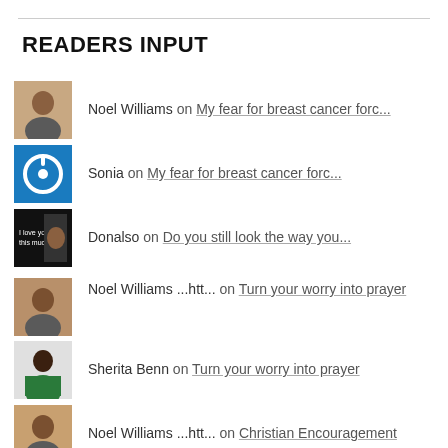READERS INPUT
Noel Williams on My fear for breast cancer forc...
Sonia on My fear for breast cancer forc...
Donalso on Do you still look the way you...
Noel Williams ...htt... on Turn your worry into prayer
Sherita Benn on Turn your worry into prayer
Noel Williams ...htt... on Christian Encouragement
Kim Killian on Christian Encouragement